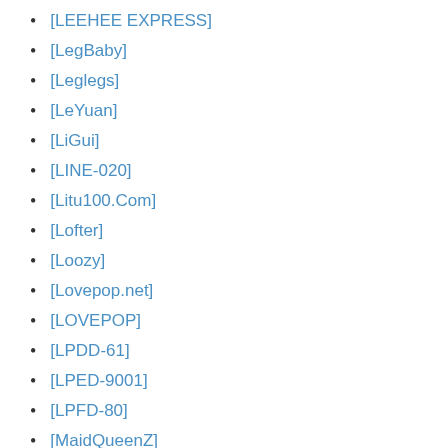[LEEHEE EXPRESS]
[LegBaby]
[Leglegs]
[LeYuan]
[LiGui]
[LINE-020]
[Litu100.Com]
[Lofter]
[Loozy]
[Lovepop.net]
[LOVEPOP]
[LPDD-61]
[LPED-9001]
[LPFD-80]
[MaidQueenZ]
[Makemodel]